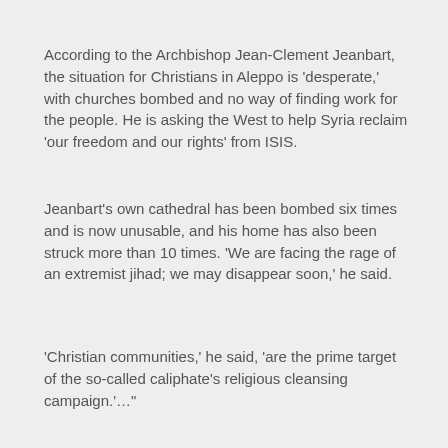According to the Archbishop Jean-Clement Jeanbart, the situation for Christians in Aleppo is 'desperate,' with churches bombed and no way of finding work for the people. He is asking the West to help Syria reclaim 'our freedom and our rights' from ISIS.
Jeanbart's own cathedral has been bombed six times and is now unusable, and his home has also been struck more than 10 times. 'We are facing the rage of an extremist jihad; we may disappear soon,' he said.
'Christian communities,' he said, 'are the prime target of the so-called caliphate's religious cleansing campaign.'…"